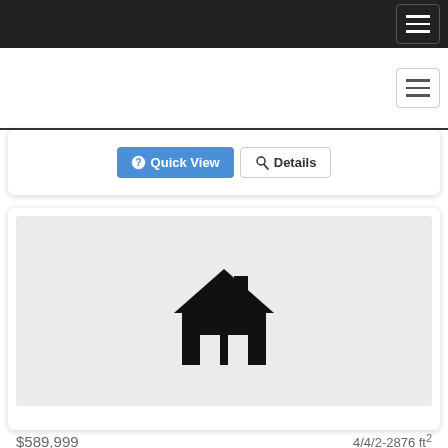[Figure (screenshot): Dark top navigation bar with hamburger menu icon on the right]
[Figure (screenshot): White secondary navigation bar with hamburger menu icon on the right]
[Figure (screenshot): Partial listing card showing Quick View and Details buttons]
[Figure (illustration): Real estate listing card with placeholder house icon image on gray background]
$589,999
4/4/2-2876 ft²